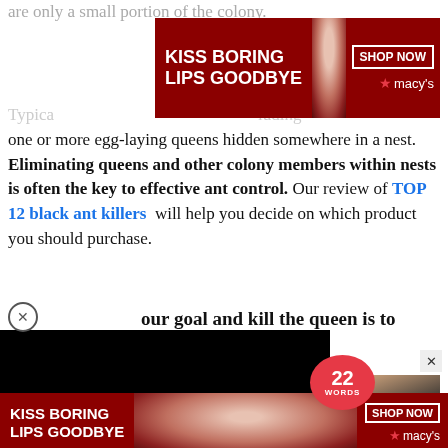are only a small portion of the colony.
[Figure (screenshot): Macy's advertisement banner: KISS BORING LIPS GOODBYE with SHOP NOW button and macy's star logo on dark red background with woman's face photo]
Typica... ...luding one or more egg-laying queens hidden somewhere in a nest. Eliminating queens and other colony members within nests is often the key to effective ant control. Our review of TOP 12 black ant killers will help you decide on which product you should purchase.
[Figure (screenshot): Black video player overlay with circle-X close button and partial bold text '...ur goal and kill the queen is to']
[Figure (screenshot): 22 Words advertisement with photo of device and CLOSE button]
[Figure (screenshot): Macy's advertisement banner at bottom: KISS BORING LIPS GOODBYE with SHOP NOW button and macy's star logo]